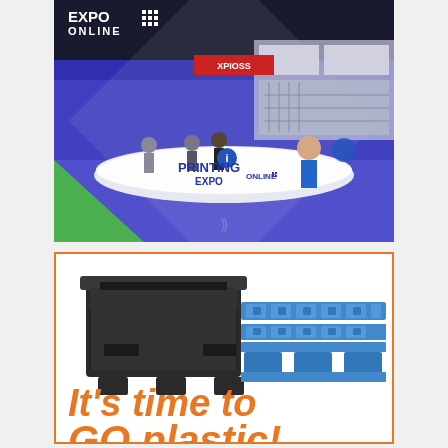[Figure (photo): Printing Expo Online advertisement showing a virtual exhibition hall with booths, visitors, and a reception desk. Logo reads 'EXPO ONLINE' with dotted grid icon in top left. 'PRINTING EXPO ONLINE' branding on the reception desk. Blue and purple background with diamond shape overlay and green triangle accent.]
[Figure (photo): Advertisement with orange border showing a dark plastic storage box/container on the left and a blue plastic pallet on the right. Bold orange italic text below reads 'It's time to GO plastic!']